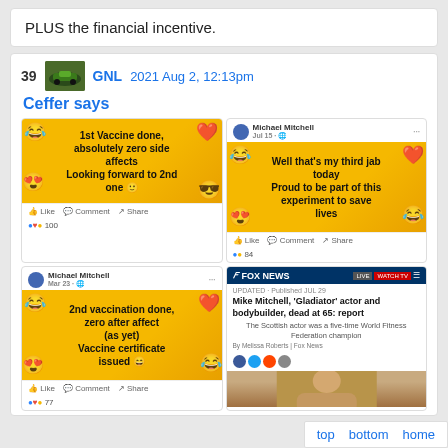PLUS the financial incentive.
39  GNL  2021 Aug 2, 12:13pm
Ceffer says
[Figure (screenshot): Four social media posts in a 2x2 grid. Top-left: Facebook post with yellow emoji background saying '1st Vaccine done, absolutely zero side affects Looking forward to 2nd one'. Top-right: Facebook post by Michael Mitchell on yellow background saying 'Well that's my third jab today Proud to be part of this experiment to save lives'. Bottom-left: Facebook post by Michael Mitchell on yellow background saying '2nd vaccination done, zero after affect (as yet) Vaccine certificate issued'. Bottom-right: Fox News article headline 'Mike Mitchell, Gladiator actor and bodybuilder, dead at 65: report' with partial photo.]
top  bottom  home